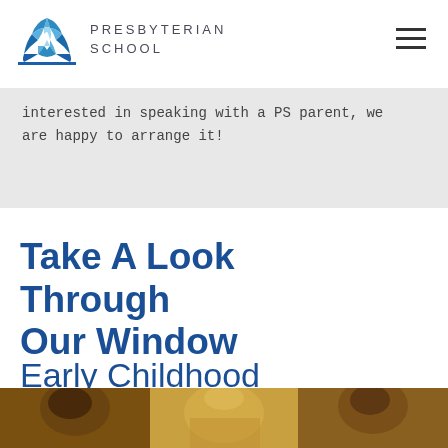PRESBYTERIAN SCHOOL
interested in speaking with a PS parent, we are happy to arrange it!
Take A Look Through Our Window
Early Childhood
[Figure (photo): Photo strip at bottom of page showing children, partially visible]